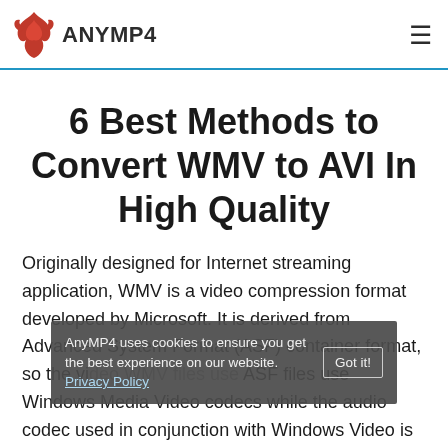ANYMP4
6 Best Methods to Convert WMV to AVI In High Quality
Originally designed for Internet streaming application, WMV is a video compression format developed by Microsoft. It is derived from Advanced System Format (ASF) container format, so the WMV files use ASF files use Windows Media Video codecs while the audio codec used in conjunction with Windows Video is some version of Windows Media Audio. In the same vein, quality WMV
AnyMP4 uses cookies to ensure you get the best experience on our website. Privacy Policy Got it!